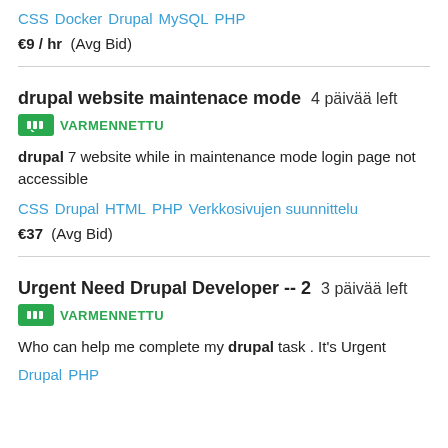CSS  Docker  Drupal  MySQL  PHP
€9 / hr  (Avg Bid)
drupal website maintenace mode  4 päivää left
VARMENNETTU
drupal 7 website while in maintenance mode login page not accessible
CSS  Drupal  HTML  PHP  Verkkosivujen suunnittelu
€37  (Avg Bid)
Urgent Need Drupal Developer -- 2  3 päivää left
VARMENNETTU
Who can help me complete my drupal task . It's Urgent
Drupal  PHP